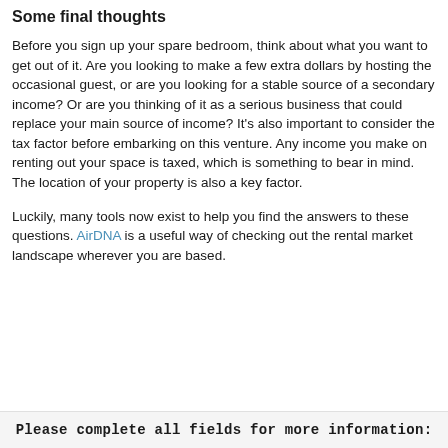Some final thoughts
Before you sign up your spare bedroom, think about what you want to get out of it. Are you looking to make a few extra dollars by hosting the occasional guest, or are you looking for a stable source of a secondary income? Or are you thinking of it as a serious business that could replace your main source of income? It's also important to consider the tax factor before embarking on this venture. Any income you make on renting out your space is taxed, which is something to bear in mind. The location of your property is also a key factor.
Luckily, many tools now exist to help you find the answers to these questions. AirDNA is a useful way of checking out the rental market landscape wherever you are based.
Please complete all fields for more information: